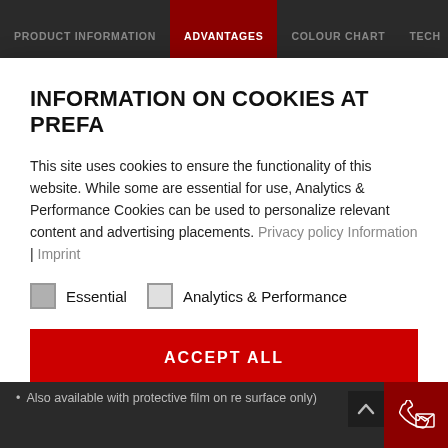PRODUCT INFORMATION | ADVANTAGES | COLOUR CHART | TECH
INFORMATION ON COOKIES AT PREFA
This site uses cookies to ensure the functionality of this website. While some are essential for use, Analytics & Performance Cookies can be used to personalize relevant content and advertising placements. Privacy policy Information | Imprint
Essential
Analytics & Performance
ACCEPT ALL
SAVE & CLOSE
Display further information
Also available with protective film on re surface only)